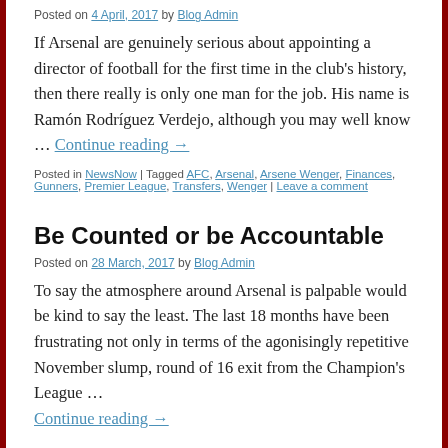Posted on 4 April, 2017 by Blog Admin
If Arsenal are genuinely serious about appointing a director of football for the first time in the club's history, then there really is only one man for the job. His name is Ramón Rodríguez Verdejo, although you may well know … Continue reading →
Posted in NewsNow | Tagged AFC, Arsenal, Arsene Wenger, Finances, Gunners, Premier League, Transfers, Wenger | Leave a comment
Be Counted or be Accountable
Posted on 28 March, 2017 by Blog Admin
To say the atmosphere around Arsenal is palpable would be kind to say the least. The last 18 months have been frustrating not only in terms of the agonisingly repetitive November slump, round of 16 exit from the Champion's League … Continue reading →